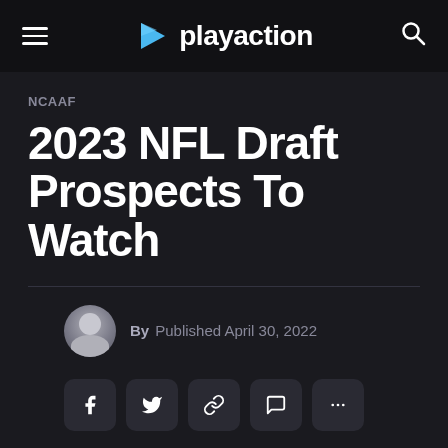playaction
NCAAF
2023 NFL Draft Prospects To Watch
By  Published April 30, 2022